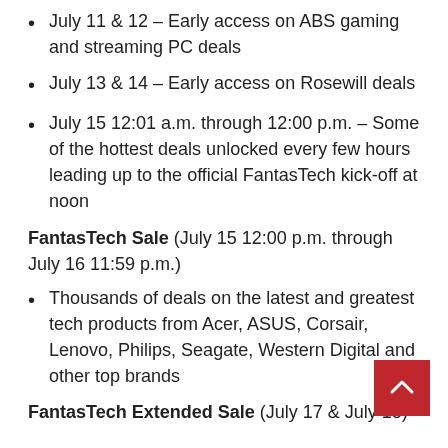July 11 & 12 – Early access on ABS gaming and streaming PC deals
July 13 & 14 – Early access on Rosewill deals
July 15 12:01 a.m. through 12:00 p.m. – Some of the hottest deals unlocked every few hours leading up to the official FantasTech kick-off at noon
FantasTech Sale (July 15 12:00 p.m. through July 16 11:59 p.m.)
Thousands of deals on the latest and greatest tech products from Acer, ASUS, Corsair, Lenovo, Philips, Seagate, Western Digital and other top brands
FantasTech Extended Sale (July 17 & July 18)